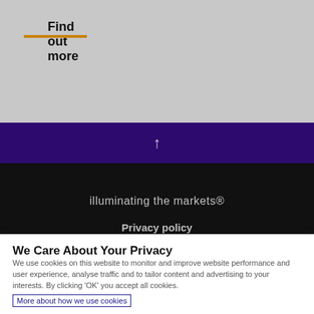Find out more
[Figure (other): Orange horizontal decorative line beneath 'Find out more' heading]
[Figure (other): Purple bar with upward arrow icon]
illuminating the markets®
Privacy policy
We Care About Your Privacy
We use cookies on this website to monitor and improve website performance and user experience, analyse traffic and to tailor content and advertising to your interests. By clicking 'OK' you accept all cookies.
More about how we use cookies